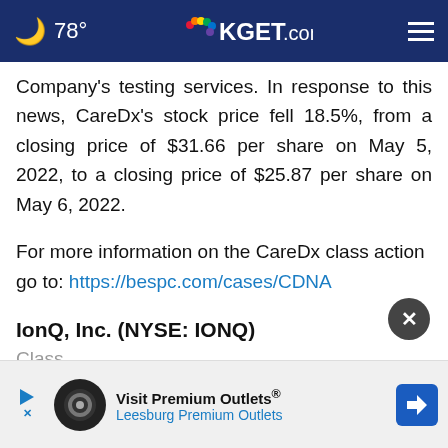🌙 78° KGET.com
Company's testing services. In response to this news, CareDx's stock price fell 18.5%, from a closing price of $31.66 per share on May 5, 2022, to a closing price of $25.87 per share on May 6, 2022.
For more information on the CareDx class action go to: https://bespc.com/cases/CDNA
IonQ, Inc. (NYSE: IONQ)
Class
Visit Premium Outlets® Leesburg Premium Outlets